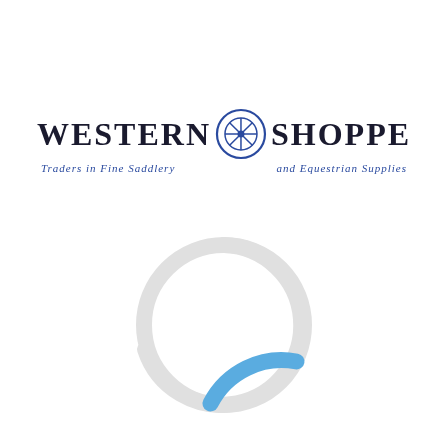[Figure (logo): Western Shoppe logo with wheel/compass emblem in blue and dark navy. Text reads 'WESTERN SHOPPE' in large serif bold letters flanking a circular wheel icon. Tagline below reads 'Traders in Fine Saddlery and Equestrian Supplies' in blue italic.]
[Figure (other): Circular loading spinner graphic. A large thin circle outline in light gray with a blue arc segment appearing in the lower-right portion, indicating a page loading state.]